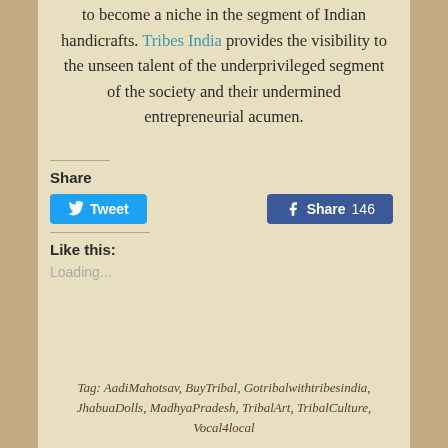to become a niche in the segment of Indian handicrafts. Tribes India provides the visibility to the unseen talent of the underprivileged segment of the society and their undermined entrepreneurial acumen.
Share
[Figure (other): Tweet and Facebook Share 146 social sharing buttons]
Like this:
Loading...
Tag: AadiMahotsav, BuyTribal, Gotribalwithtribesindia, JhabuaDolls, MadhyaPradesh, TribalArt, TribalCulture, Vocal4local